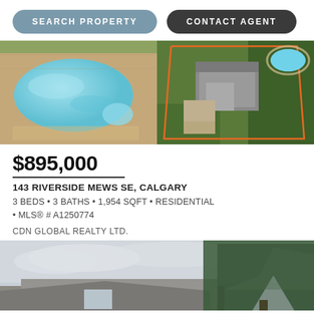SEARCH PROPERTY   CONTACT AGENT
[Figure (photo): Split photo strip: left side shows an outdoor swimming pool with light blue water and surrounding stone patio; right side shows aerial view of a house property with orange boundary lines and a pool visible]
$895,000
143 RIVERSIDE MEWS SE, CALGARY
3 BEDS • 3 BATHS • 1,954 SQFT • RESIDENTIAL • MLS® # A1250774
CDN GLOBAL REALTY LTD.
[Figure (photo): Exterior photo of a residential house with overcast sky and large evergreen tree on the right side]